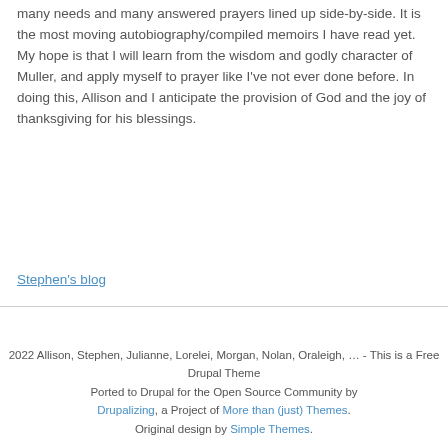many needs and many answered prayers lined up side-by-side. It is the most moving autobiography/compiled memoirs I have read yet. My hope is that I will learn from the wisdom and godly character of Muller, and apply myself to prayer like I've not ever done before. In doing this, Allison and I anticipate the provision of God and the joy of thanksgiving for his blessings.
Stephen's blog
2022 Allison, Stephen, Julianne, Lorelei, Morgan, Nolan, Oraleigh, … - This is a Free Drupal Theme Ported to Drupal for the Open Source Community by Drupalizing, a Project of More than (just) Themes. Original design by Simple Themes.